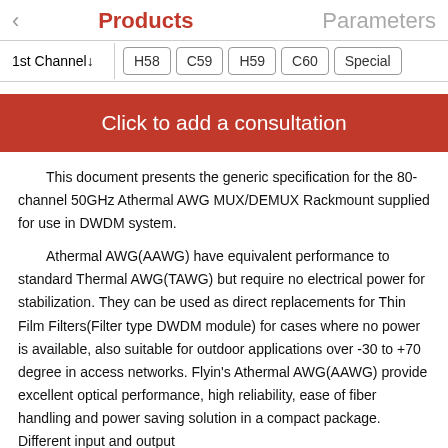< Products   Parameters
| 1st Channel↓ | H58 | C59 | H59 | C60 | Special |
| --- | --- | --- | --- | --- | --- |
Click to add a consultation
This document presents the generic specification for the 80-channel 50GHz Athermal AWG MUX/DEMUX Rackmount supplied for use in DWDM system.
Athermal AWG(AAWG) have equivalent performance to standard Thermal AWG(TAWG) but require no electrical power for stabilization. They can be used as direct replacements for Thin Film Filters(Filter type DWDM module) for cases where no power is available, also suitable for outdoor applications over -30 to +70 degree in access networks. Flyin's Athermal AWG(AAWG) provide excellent optical performance, high reliability, ease of fiber handling and power saving solution in a compact package. Different input and output fiber connectors SM/line and MM/fiber and PM/fiber can be adopted.